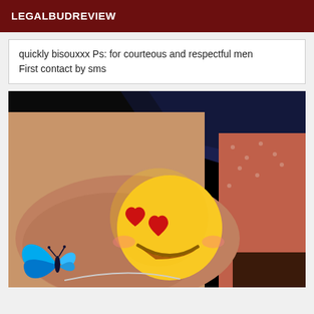LEGALBUDREVIEW
quickly bisouxxx Ps: for courteous and respectful men First contact by sms
[Figure (photo): Close-up photo with a large heart-eyes emoji overlaid, a blue butterfly decoration visible at lower left, background shows dark blue fabric and patterned fabric in reddish-orange tones, skin tones visible.]